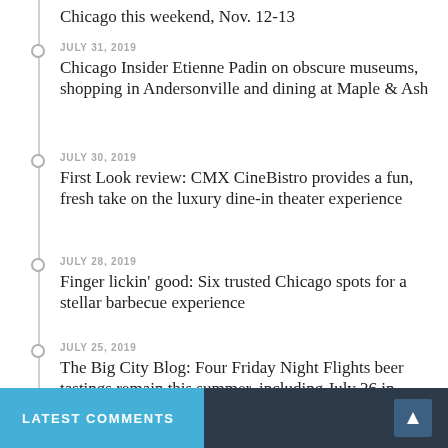Chicago this weekend, Nov. 12-13
JULY 31, 2019 — Chicago Insider Etienne Padin on obscure museums, shopping in Andersonville and dining at Maple & Ash
JULY 30, 2019 — First Look review: CMX CineBistro provides a fun, fresh take on the luxury dine-in theater experience
JULY 28, 2019 — Finger lickin' good: Six trusted Chicago spots for a stellar barbecue experience
JULY 25, 2019 — The Big City Blog: Four Friday Night Flights beer tastings remain this summer, including July 26 in Ravenswood
LATEST COMMENTS